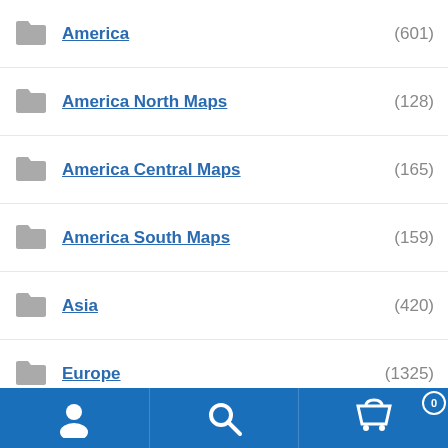America (601)
America North Maps (128)
America Central Maps (165)
America South Maps (159)
Asia (420)
Europe (1325)
Oceania (118)
City Vector Maps (597)
Wall Maps (476)
Vinyl Sticker Maps (240)
Framed Maps (74)
Magnetic Maps (491)